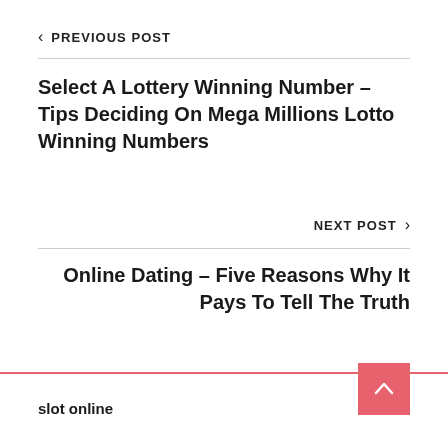< PREVIOUS POST
Select A Lottery Winning Number – Tips Deciding On Mega Millions Lotto Winning Numbers
NEXT POST >
Online Dating – Five Reasons Why It Pays To Tell The Truth
slot online